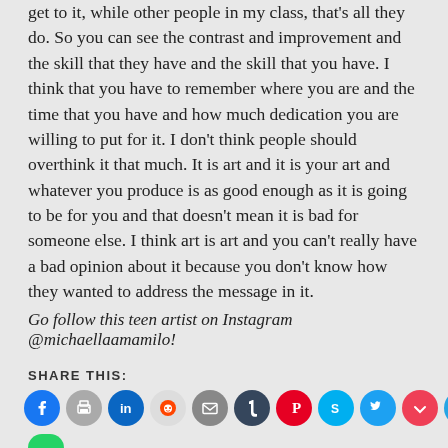get to it, while other people in my class, that's all they do. So you can see the contrast and improvement and the skill that they have and the skill that you have. I think that you have to remember where you are and the time that you have and how much dedication you are willing to put for it. I don't think people should overthink it that much. It is art and it is your art and whatever you produce is as good enough as it is going to be for you and that doesn't mean it is bad for someone else. I think art is art and you can't really have a bad opinion about it because you don't know how they wanted to address the message in it.
Go follow this teen artist on Instagram @michaellaamamilo!
SHARE THIS:
[Figure (infographic): Row of social media share icon buttons: Facebook (blue), Print (gray), LinkedIn (blue), Reddit (light gray), Email (gray), Tumblr (dark navy), Pinterest (red), Skype (cyan), Twitter (light blue), Pocket (red), Telegram (teal). Partially visible WhatsApp green circle at bottom.]